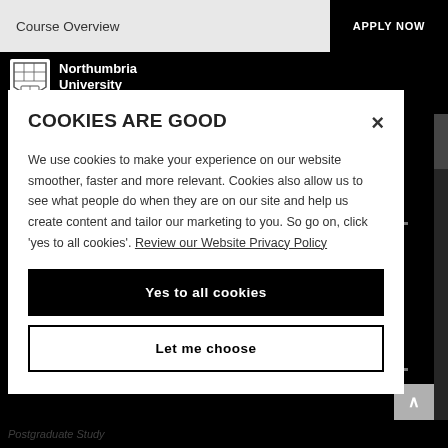Course Overview
APPLY NOW
[Figure (logo): Northumbria University Newcastle shield logo with text: Northumbria University NEWCASTLE]
COOKIES ARE GOOD
We use cookies to make your experience on our website smoother, faster and more relevant. Cookies also allow us to see what people do when they are on our site and help us create content and tailor our marketing to you. So go on, click 'yes to all cookies'. Review our Website Privacy Policy
Yes to all cookies
Let me choose
Postgraduate Study